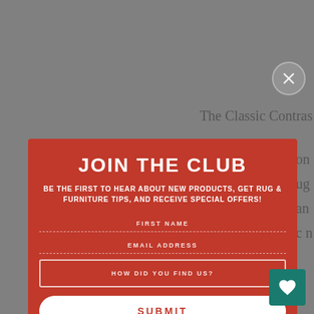The Classic Contras...
JOIN THE CLUB
BE THE FIRST TO HEAR ABOUT NEW PRODUCTS, GET RUG & FURNITURE TIPS, AND RECEIVE SPECIAL OFFERS!
FIRST NAME
EMAIL ADDRESS
HOW DID YOU FIND US?
SUBMIT